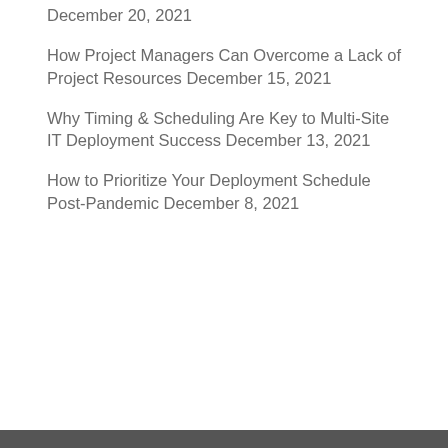December 20, 2021
How Project Managers Can Overcome a Lack of Project Resources December 15, 2021
Why Timing & Scheduling Are Key to Multi-Site IT Deployment Success December 13, 2021
How to Prioritize Your Deployment Schedule Post-Pandemic December 8, 2021